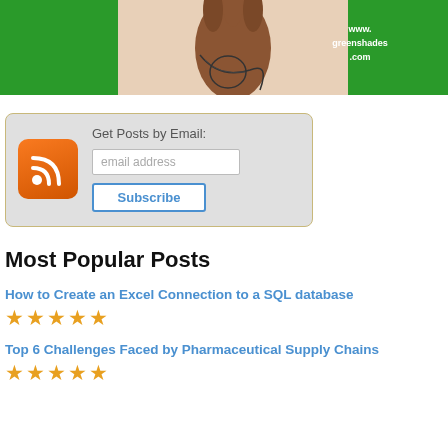[Figure (photo): Banner image with green background showing a hand holding something with www.greenshades.com URL text on the right side]
[Figure (infographic): Email subscription box with RSS feed orange icon, 'Get Posts by Email:' label, email address input field, and Subscribe button]
Most Popular Posts
How to Create an Excel Connection to a SQL database
Top 6 Challenges Faced by Pharmaceutical Supply Chains